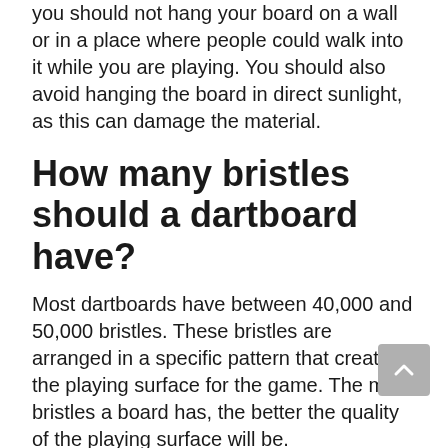you should not hang your board on a wall or in a place where people could walk into it while you are playing. You should also avoid hanging the board in direct sunlight, as this can damage the material.
How many bristles should a dartboard have?
Most dartboards have between 40,000 and 50,000 bristles. These bristles are arranged in a specific pattern that creates the playing surface for the game. The more bristles a board has, the better the quality of the playing surface will be.
Conclusion